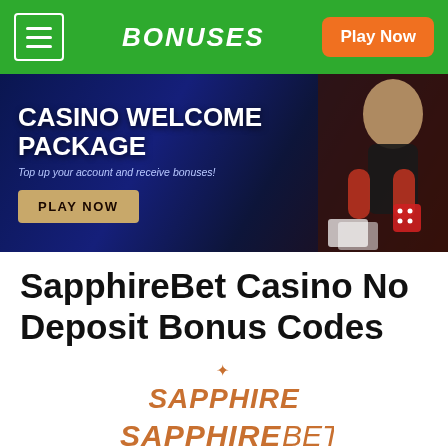BONUSES | Play Now
[Figure (screenshot): Casino Welcome Package banner with woman in red gloves and dark background. Text: CASINO WELCOME PACKAGE. Top up your account and receive bonuses! PLAY NOW button.]
SapphireBet Casino No Deposit Bonus Codes
[Figure (logo): SAPPHIREBET logo in italic orange/gold text with sparkle decoration above]